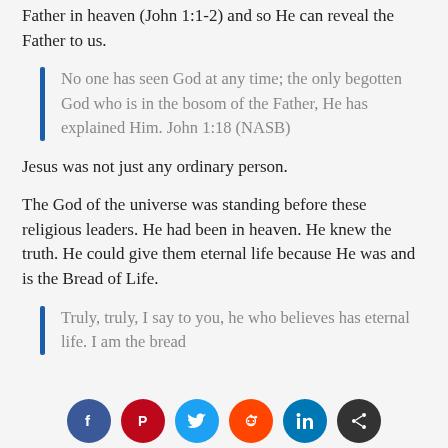Father in heaven (John 1:1-2) and so He can reveal the Father to us.
No one has seen God at any time; the only begotten God who is in the bosom of the Father, He has explained Him. John 1:18 (NASB)
Jesus was not just any ordinary person.
The God of the universe was standing before these religious leaders. He had been in heaven. He knew the truth. He could give them eternal life because He was and is the Bread of Life.
Truly, truly, I say to you, he who believes has eternal life. I am the bread
[Figure (infographic): Social media sharing buttons: Facebook (dark blue), Pinterest (red), Twitter (light blue), Reddit (orange-red), LinkedIn (blue), Share (dark/black)]